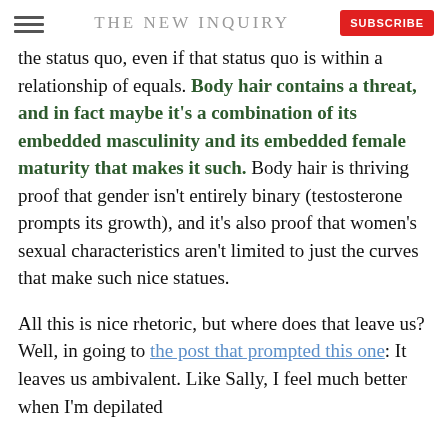THE NEW INQUIRY
the status quo, even if that status quo is within a relationship of equals. Body hair contains a threat, and in fact maybe it’s a combination of its embedded masculinity and its embedded female maturity that makes it such. Body hair is thriving proof that gender isn’t entirely binary (testosterone prompts its growth), and it’s also proof that women’s sexual characteristics aren’t limited to just the curves that make such nice statues.
All this is nice rhetoric, but where does that leave us? Well, in going to the post that prompted this one: It leaves us ambivalent. Like Sally, I feel much better when I’m depilated